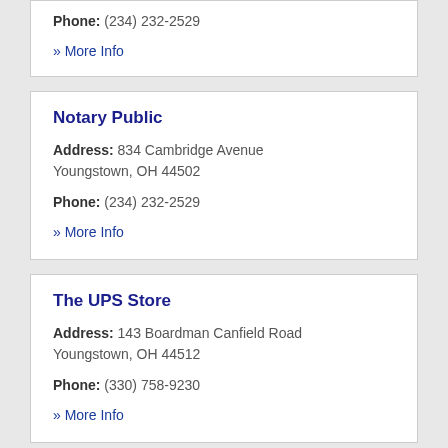Phone: (234) 232-2529
» More Info
Notary Public
Address: 834 Cambridge Avenue Youngstown, OH 44502
Phone: (234) 232-2529
» More Info
The UPS Store
Address: 143 Boardman Canfield Road Youngstown, OH 44512
Phone: (330) 758-9230
» More Info